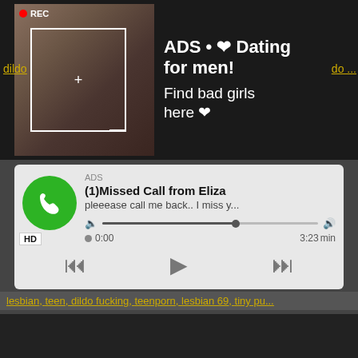[Figure (screenshot): Adult ad banner with photo of person taking selfie, REC indicator, camera frame overlay, dark background, text: ADS • Dating for men! Find bad girls here]
dildo
do...
[Figure (screenshot): Fake missed call notification ad: green phone circle icon, ADS label, (1)Missed Call from Eliza, pleeease call me back.. I miss y..., audio progress bar, time 0:00 to 3:23 min, HD badge, playback controls]
lesbian, teen, dildo fucking, teenporn, lesbian 69, tiny pu...